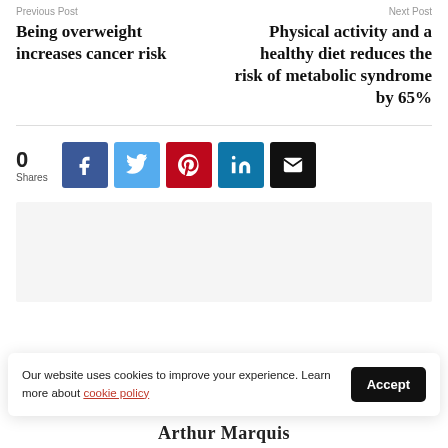Previous Post
Next Post
Being overweight increases cancer risk
Physical activity and a healthy diet reduces the risk of metabolic syndrome by 65%
0
Shares
[Figure (infographic): Social share buttons: Facebook (blue), Twitter (light blue), Pinterest (red), LinkedIn (dark teal), Email (black)]
[Figure (other): Grey/light background advertisement or content placeholder box]
Our website uses cookies to improve your experience. Learn more about cookie policy
Arthur Marquis